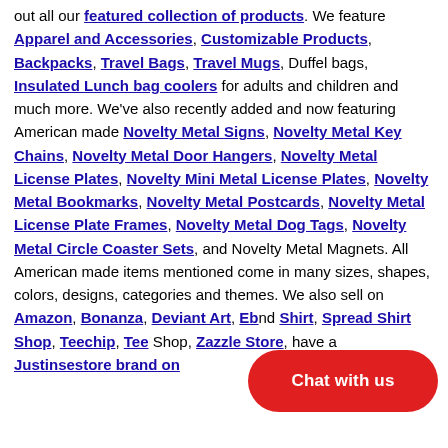out all our featured collection of products. We feature Apparel and Accessories, Customizable Products, Backpacks, Travel Bags, Travel Mugs, Duffel bags, Insulated Lunch bag coolers for adults and children and much more. We've also recently added and now featuring American made Novelty Metal Signs, Novelty Metal Key Chains, Novelty Metal Door Hangers, Novelty Metal License Plates, Novelty Mini Metal License Plates, Novelty Metal Bookmarks, Novelty Metal Postcards, Novelty Metal License Plate Frames, Novelty Metal Dog Tags, Novelty Metal Circle Coaster Sets, and Novelty Metal Magnets. All American made items mentioned come in many sizes, shapes, colors, designs, categories and themes. We also sell on Amazon, Bonanza, Deviant Art, Eb[ay], and Shirt, Spread Shirt Shop, Teechip, Tee[public] Shop, Zazzle Store, have a Justinsestore brand on